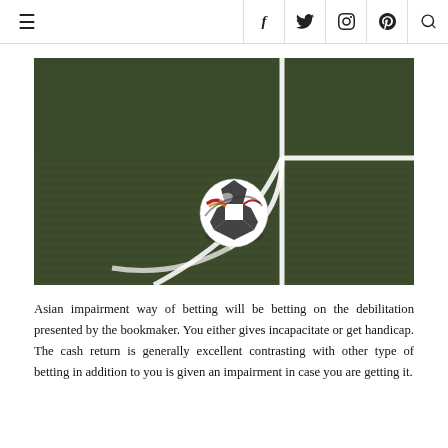≡  f  🐦  📷  𝓟  🔍
[Figure (photo): A soccer ball positioned at the corner of a football field with white corner lines marked on dark green artificial turf.]
Asian impairment way of betting will be betting on the debilitation presented by the bookmaker. You either gives incapacitate or get handicap. The cash return is generally excellent contrasting with other type of betting in addition to you is given an impairment in case you are getting it.